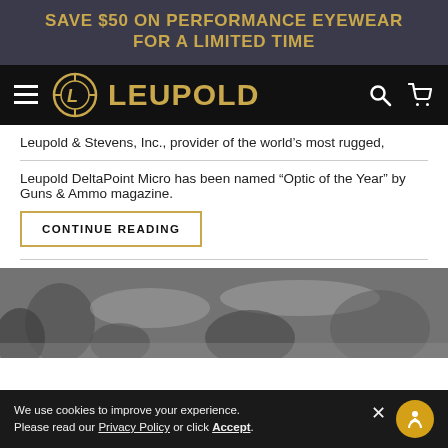SAVE $50 ON PERFORMANCE EYEWEAR FOR A LIMITED TIME
[Figure (logo): Leupold logo with circular crosshair mark and LEUPOLD wordmark in gold on black navigation bar]
Leupold & Stevens, Inc., provider of the world’s most rugged,
Leupold DeltaPoint Micro has been named “Optic of the Year” by Guns & Ammo magazine.
CONTINUE READING
[Figure (photo): Black and white photograph of a winter forest scene with snow-covered trees]
We use cookies to improve your experience. Please read our Privacy Policy or click Accept.